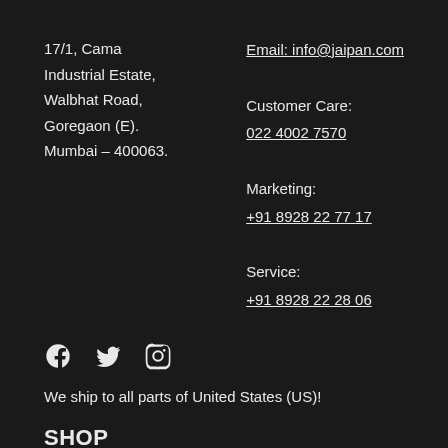17/1, Cama Industrial Estate, Walbhat Road, Goregaon (E). Mumbai – 400063.
Email: info@jaipan.com
Customer Care:
022 4002 7570
Marketing:
+91 8928 22 77 17
Service: +91 8928 22 28 06
[Figure (other): Social media icons: Facebook, Twitter, Instagram]
We ship to all parts of United States (US)!
SHOP
Home Appliances
Pressure Cooker
Non Stick Cookware